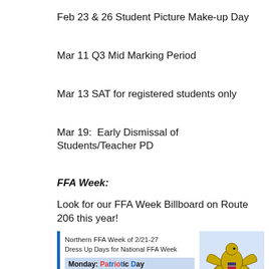Feb 23 & 26 Student Picture Make-up Day
Mar 11 Q3 Mid Marking Period
Mar 13 SAT for registered students only
Mar 19:  Early Dismissal of Students/Teacher PD
FFA Week:
Look for our FFA Week Billboard on Route 206 this year!
[Figure (infographic): Northern FFA Week of 2/21-27. Dress Up Days for National FFA Week. Monday: Patriotic Day. Tuesday: Ag Tourism. FFA eagle logo on right side.]